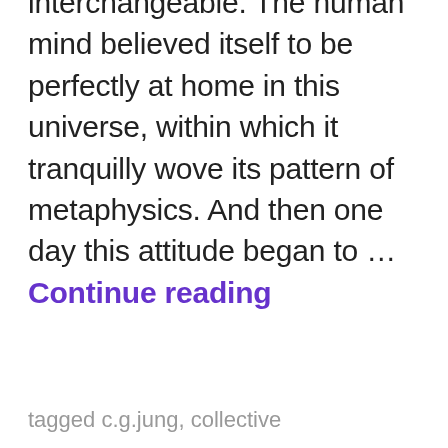interchangeable. The human mind believed itself to be perfectly at home in this universe, within which it tranquilly wove its pattern of metaphysics. And then one day this attitude began to … Continue reading
tagged c.g.jung, collective